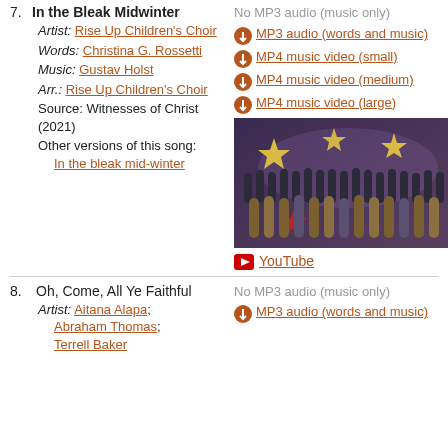7. In the Bleak Midwinter
Artist: Rise Up Children's Choir
Words: Christina G. Rossetti
Music: Gustav Holst
Arr.: Rise Up Children's Choir
Source: Witnesses of Christ (2021)
Other versions of this song: In the bleak mid-winter
No MP3 audio (music only)
MP3 audio (words and music)
MP4 music video (small)
MP4 music video (medium)
MP4 music video (large)
YouTube
[Figure (photo): Choir performing on stage with star decorations and colorful lighting]
8. Oh, Come, All Ye Faithful
Artist: Aitana Alapa; Abraham Thomas; Terrell Baker
No MP3 audio (music only)
MP3 audio (words and music)